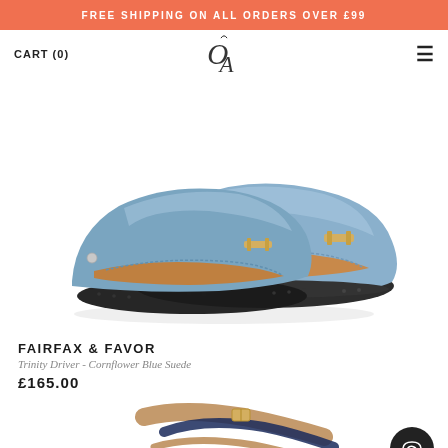FREE SHIPPING ON ALL ORDERS OVER £99
CART (0)
[Figure (logo): Ornate monogram logo with stylized letter O and A intertwined]
[Figure (photo): A pair of Fairfax & Favor Trinity Driver loafers in Cornflower Blue Suede with gold snaffle bit detail, shown on white background]
FAIRFAX & FAVOR
Trinity Driver - Cornflower Blue Suede
£165.00
[Figure (photo): Partial view of a second product - appears to be a sandal in tan/navy leather, cropped at the bottom of the page]